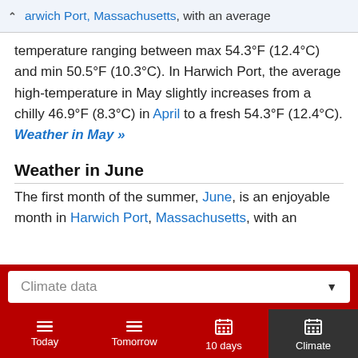arwich Port, Massachusetts, with an average temperature ranging between max 54.3°F (12.4°C) and min 50.5°F (10.3°C).
temperature ranging between max 54.3°F (12.4°C) and min 50.5°F (10.3°C). In Harwich Port, the average high-temperature in May slightly increases from a chilly 46.9°F (8.3°C) in April to a fresh 54.3°F (12.4°C). Weather in May »
Weather in June
The first month of the summer, June, is an enjoyable month in Harwich Port, Massachusetts, with an
Climate data
Today  Tomorrow  10 days  Climate